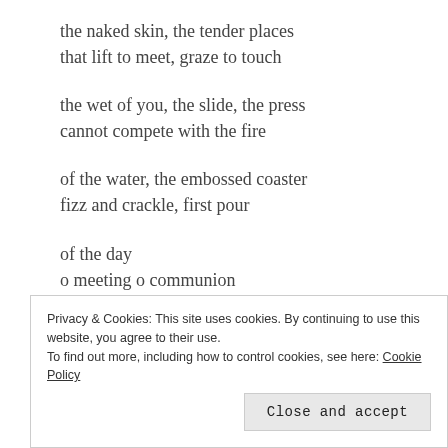the naked skin, the tender places
that lift to meet, graze to touch
the wet of you, the slide, the press
cannot compete with the fire
of the water, the embossed coaster
fizz and crackle, first pour
of the day
o meeting o communion
of the…
Privacy & Cookies: This site uses cookies. By continuing to use this website, you agree to their use.
To find out more, including how to control cookies, see here: Cookie Policy
Close and accept